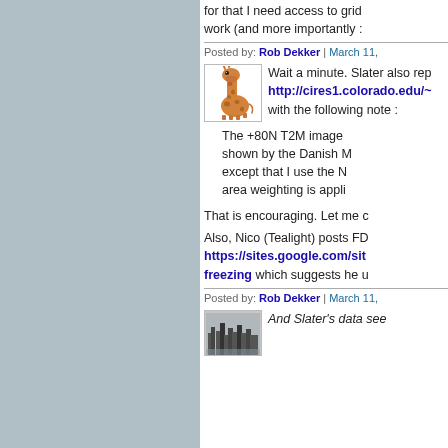for that I need access to grid... work (and more importantly :
Posted by: Rob Dekker | March 11,
[Figure (photo): Avatar image of a giraffe toy/figure]
Wait a minute. Slater also rep... http://cires1.colorado.edu/~ with the following note :
The +80N T2M image... shown by the Danish M... except that I use the N... area weighting is appli...
That is encouraging. Let me c...
Also, Nico (Tealight) posts FD... https://sites.google.com/sit... freezing which suggests he u...
Posted by: Rob Dekker | March 11,
[Figure (photo): Avatar image of a city skyline]
And Slater's data see...